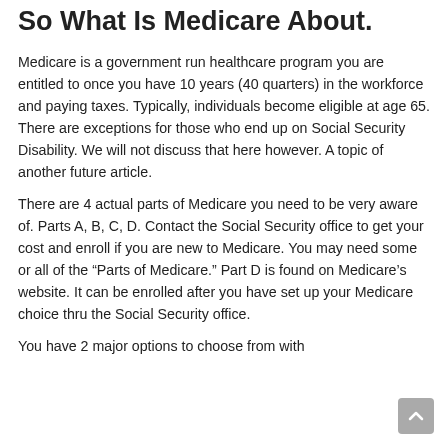So What Is Medicare About.
Medicare is a government run healthcare program you are entitled to once you have 10 years (40 quarters) in the workforce and paying taxes. Typically, individuals become eligible at age 65. There are exceptions for those who end up on Social Security Disability. We will not discuss that here however. A topic of another future article.
There are 4 actual parts of Medicare you need to be very aware of. Parts A, B, C, D. Contact the Social Security office to get your cost and enroll if you are new to Medicare. You may need some or all of the “Parts of Medicare.” Part D is found on Medicare’s website. It can be enrolled after you have set up your Medicare choice thru the Social Security office.
You have 2 major options to choose from with